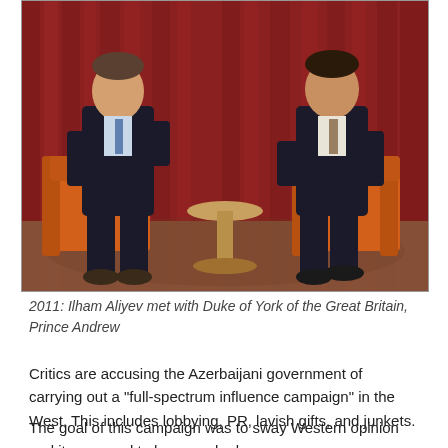[Figure (photo): Two men in dark suits seated in orange armchairs facing each other across a small round wooden table, with red curtain in background and patterned carpet. Meeting between Ilham Aliyev and Prince Andrew, Duke of York, 2011.]
2011: Ilham Aliyev met with Duke of York of the Great Britain, Prince Andrew
Critics are accusing the Azerbaijani government of carrying out a "full-spectrum influence campaign" in the West. This includes lobbying, PR, lavish gifts, and junkets.
The goal of this campaign was to sway Western opinion and it appeared to have worked.